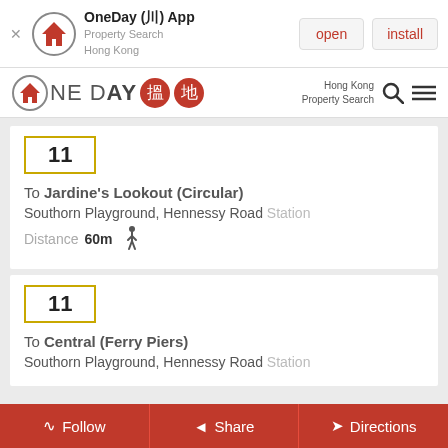[Figure (screenshot): App install banner for OneDay (III) App - Property Search Hong Kong, with open and install buttons]
[Figure (logo): OneDay property search Hong Kong navigation bar with logo, search icon, and menu]
11
To Jardine's Lookout (Circular)
Southorn Playground, Hennessy Road Station
Distance 60m
11
To Central (Ferry Piers)
Southorn Playground, Hennessy Road Station
Follow   Share   Directions